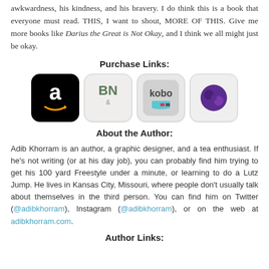awkwardness, his kindness, and his bravery. I do think this is a book that everyone must read. THIS, I want to shout, MORE OF THIS. Give me more books like Darius the Great is Not Okay, and I think we all might just be okay.
Purchase Links:
[Figure (other): Four retailer logos: Amazon (black square with 'a' and arrow), Barnes & Noble (BN logo), Kobo (kobo logo with book icon), and Scribd (purple circular icon)]
About the Author:
Adib Khorram is an author, a graphic designer, and a tea enthusiast. If he's not writing (or at his day job), you can probably find him trying to get his 100 yard Freestyle under a minute, or learning to do a Lutz Jump. He lives in Kansas City, Missouri, where people don't usually talk about themselves in the third person. You can find him on Twitter (@adibkhorram), Instagram (@adibkhorram), or on the web at adibkhorram.com.
Author Links: